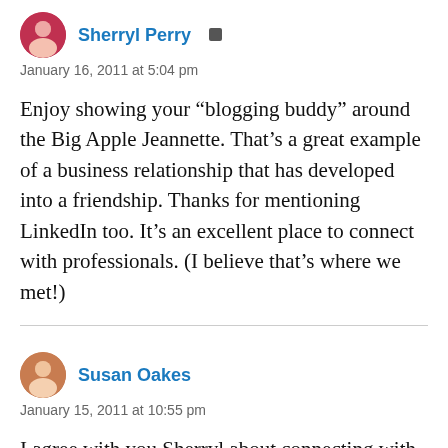Sherryl Perry [admin icon]
January 16, 2011 at 5:04 pm
Enjoy showing your “blogging buddy” around the Big Apple Jeannette. That’s a great example of a business relationship that has developed into a friendship. Thanks for mentioning LinkedIn too. It’s an excellent place to connect with professionals. (I believe that’s where we met!)
Susan Oakes
January 15, 2011 at 10:55 pm
I agree with you Sherryl about connecting with